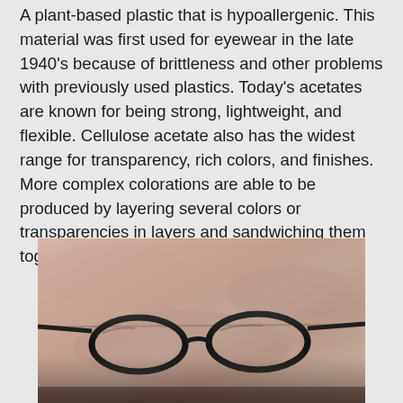A plant-based plastic that is hypoallergenic. This material was first used for eyewear in the late 1940's because of brittleness and other problems with previously used plastics. Today's acetates are known for being strong, lightweight, and flexible. Cellulose acetate also has the widest range for transparency, rich colors, and finishes. More complex colorations are able to be produced by layering several colors or transparencies in layers and sandwiching them together.
[Figure (photo): Close-up photo of eyewear frames (glasses) on a light wooden or beige surface, showing the dark frame of the glasses from above.]